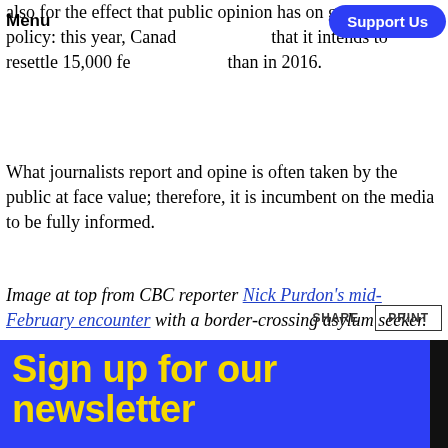Menu | Support Us
also for the effect that public opinion has on government policy: this year, Canada announced that it intends to resettle 15,000 fewer refugees than in 2016.
What journalists report and opine is often taken by the public at face value; therefore, it is incumbent on the media to be fully informed.
Image at top from CBC reporter Nick Purdon's mid-February encounter with a border-crossing asylum seeker.
SHARE   PRINT
Sign up for our newsletter